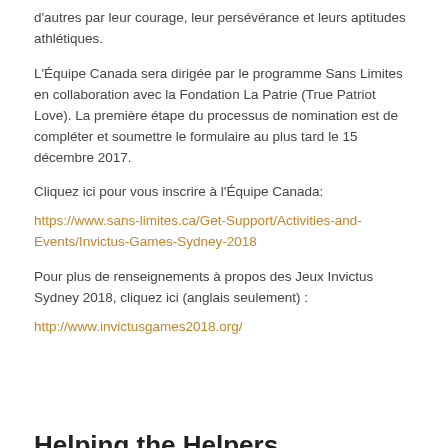d'autres par leur courage, leur persévérance et leurs aptitudes athlétiques.
L'Équipe Canada sera dirigée par le programme Sans Limites en collaboration avec la Fondation La Patrie (True Patriot Love). La première étape du processus de nomination est de compléter et soumettre le formulaire au plus tard le 15 décembre 2017.
Cliquez ici pour vous inscrire à l'Équipe Canada:
https://www.sans-limites.ca/Get-Support/Activities-and-Events/Invictus-Games-Sydney-2018
Pour plus de renseignements à propos des Jeux Invictus Sydney 2018, cliquez ici (anglais seulement) :
http://www.invictusgames2018.org/
Helping the Helpers
October 23, 2017 / 0 Comments / in Canadian Armed Forces (CAF),